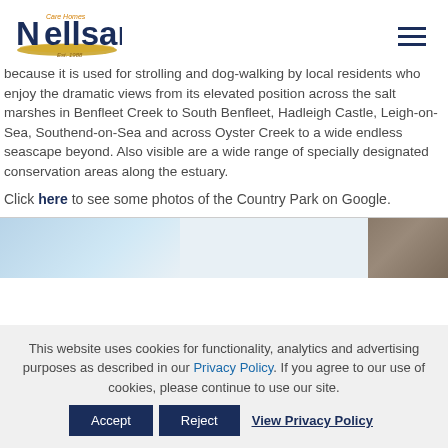Nellsar Care Homes Est. 1988
because it is used for strolling and dog-walking by local residents who enjoy the dramatic views from its elevated position across the salt marshes in Benfleet Creek to South Benfleet, Hadleigh Castle, Leigh-on-Sea, Southend-on-Sea and across Oyster Creek to a wide endless seascape beyond. Also visible are a wide range of specially designated conservation areas along the estuary.
Click here to see some photos of the Country Park on Google.
[Figure (photo): Partial view of two photos in a strip: left shows a light blue sky/water scene, right shows a dark rocky or stone surface.]
This website uses cookies for functionality, analytics and advertising purposes as described in our Privacy Policy. If you agree to our use of cookies, please continue to use our site.
Accept | Reject | View Privacy Policy